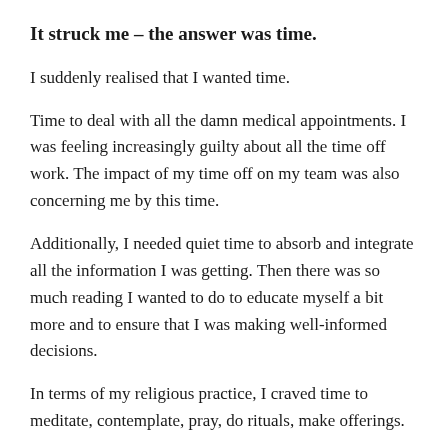It struck me – the answer was time.
I suddenly realised that I wanted time.
Time to deal with all the damn medical appointments. I was feeling increasingly guilty about all the time off work. The impact of my time off on my team was also concerning me by this time.
Additionally, I needed quiet time to absorb and integrate all the information I was getting. Then there was so much reading I wanted to do to educate myself a bit more and to ensure that I was making well-informed decisions.
In terms of my religious practice, I craved time to meditate, contemplate, pray, do rituals, make offerings.
We desperately needed time to get moving organised.